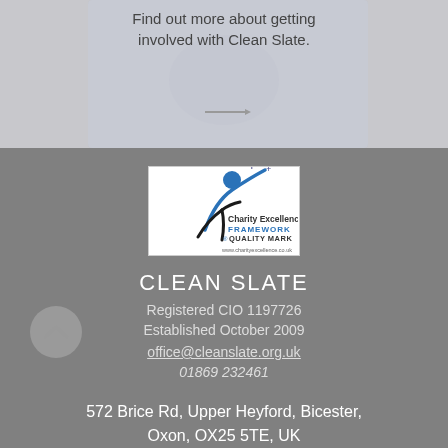Find out more about getting involved with Clean Slate.
[Figure (logo): Charity Excellence Framework Quality Mark logo — figure in blue raising arms with checkmark, stars, text: Charity Excellence FRAMEWORK QUALITY MARK www.charityexcellence.co.uk]
CLEAN SLATE
Registered CIO 1197726
Established October 2009
office@cleanslate.org.uk
01869 232461
572 Brice Rd, Upper Heyford, Bicester, Oxon, OX25 5TE, UK